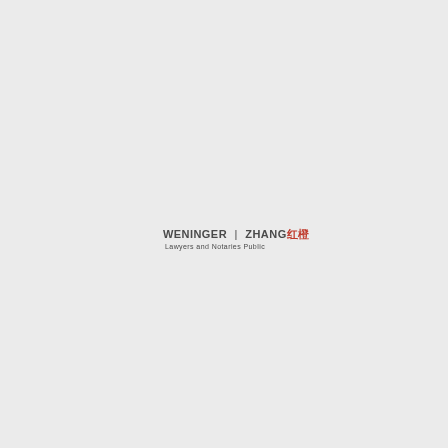[Figure (logo): Weninger | Zhang law firm logo with Chinese characters and tagline 'Lawyers and Notaries Public']